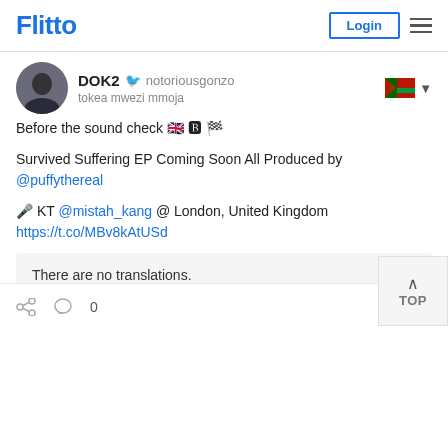Flitto  Login
DOK2  notoriousgonzo
tokea mwezi mmoja
Before the sound check 🇬🇧 🅱 🏁
Survived Suffering EP Coming Soon All Produced by @puffythereal
🎤 KT @mistah_kang @ London, United Kingdom https://t.co/MBv8kAtUSd
There are no translations.
Translate in Kiswahili.
0